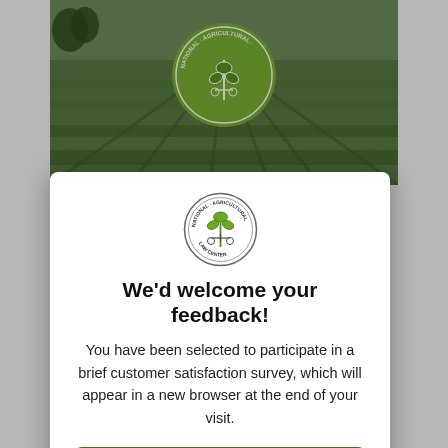[Figure (photo): Agricultural field with rows of green crops stretching to the horizon, National Agricultural Law Center logo overlaid at top center]
[Figure (logo): National Agricultural Law Center circular logo with scales of justice and plant imagery]
We'd welcome your feedback!
You have been selected to participate in a brief customer satisfaction survey, which will appear in a new browser at the end of your visit.
Provide Feedback
No Thanks